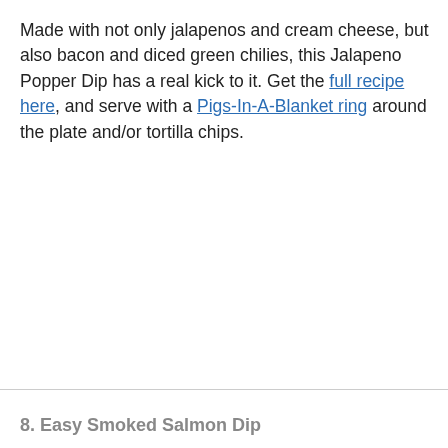Made with not only jalapenos and cream cheese, but also bacon and diced green chilies, this Jalapeno Popper Dip has a real kick to it. Get the full recipe here, and serve with a Pigs-In-A-Blanket ring around the plate and/or tortilla chips.
8. Easy Smoked Salmon Dip